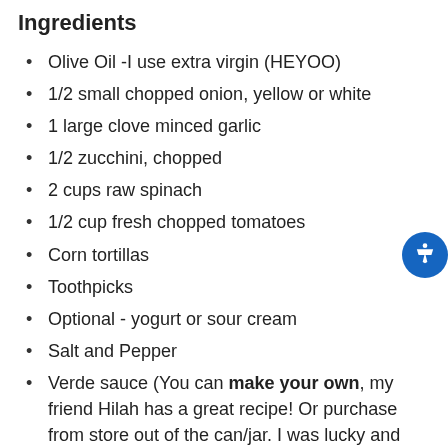Ingredients
Olive Oil -I use extra virgin (HEYOO)
1/2 small chopped onion, yellow or white
1 large clove minced garlic
1/2 zucchini, chopped
2 cups raw spinach
1/2 cup fresh chopped tomatoes
Corn tortillas
Toothpicks
Optional - yogurt or sour cream
Salt and Pepper
Verde sauce (You can make your own, my friend Hilah has a great recipe! Or purchase from store out of the can/jar. I was lucky and had leftover verde salsa from Tacodeli -